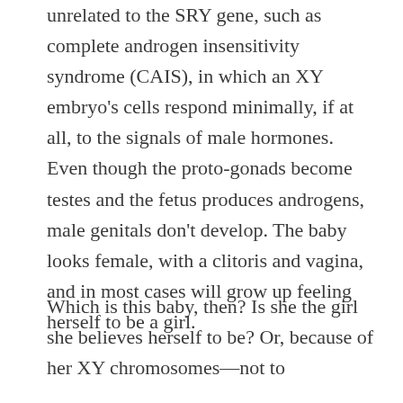unrelated to the SRY gene, such as complete androgen insensitivity syndrome (CAIS), in which an XY embryo's cells respond minimally, if at all, to the signals of male hormones. Even though the proto-gonads become testes and the fetus produces androgens, male genitals don't develop. The baby looks female, with a clitoris and vagina, and in most cases will grow up feeling herself to be a girl.
Which is this baby, then? Is she the girl she believes herself to be? Or, because of her XY chromosomes—not to mention the testes in her abdomen—is